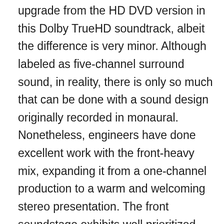upgrade from the HD DVD version in this Dolby TrueHD soundtrack, albeit the difference is very minor. Although labeled as five-channel surround sound, in reality, there is only so much that can be done with a sound design originally recorded in monaural. Nonetheless, engineers have done excellent work with the front-heavy mix, expanding it from a one-channel production to a warm and welcoming stereo presentation. The front soundstage exhibits well prioritized and intelligible vocals, while the music feels expansive and engaging. Dynamic range is also wide and cleanly delivered. Low-frequency bass and rear activity is practically non-existent, save for some very trivial echo effects. In spite of all this, the lossless track of 'Willy Wonka' sounds wonderful on Blu-ray.